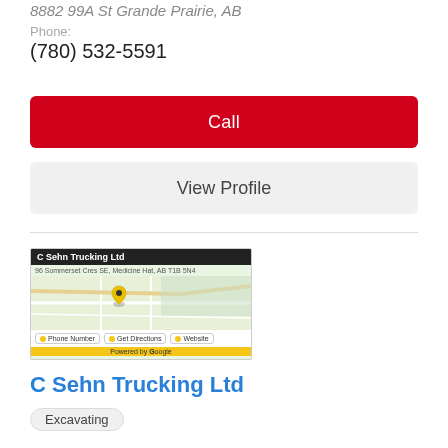8882 99A St Grande Prairie, AB
Phone:
(780) 532-5591
Call
View Profile
[Figure (map): Map thumbnail showing location of C Sehn Trucking Ltd with a pin marker, street labels, and buttons for Phone Number, Get Directions, Website. Powered by Google logo at bottom.]
C Sehn Trucking Ltd
Excavating
C Sehn Trucking Ltd - Medicine Hat - phone number, website & address - AB - Heavy Hauling Movers, Oil Field Services, Excavation Contractors.
Address:
46 Somerset Cres SE Medicine Hat, AB
Phone: